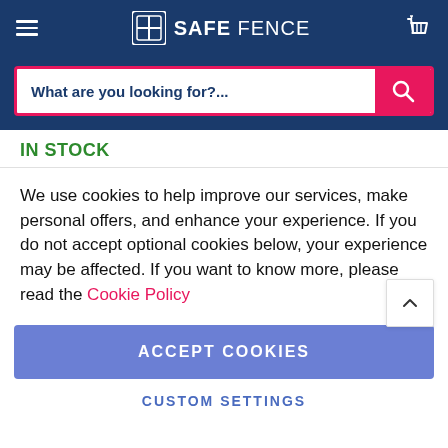SAFE FENCE
What are you looking for?...
IN STOCK
We use cookies to help improve our services, make personal offers, and enhance your experience. If you do not accept optional cookies below, your experience may be affected. If you want to know more, please read the Cookie Policy
ACCEPT COOKIES
CUSTOM SETTINGS